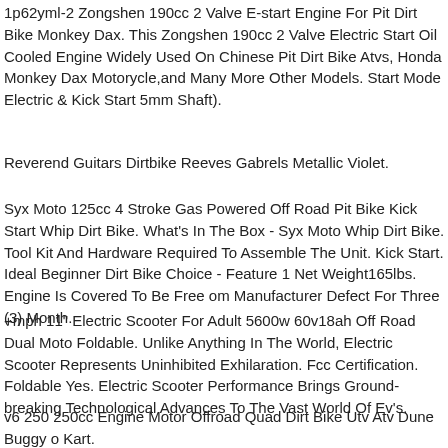1p62yml-2 Zongshen 190cc 2 Valve E-start Engine For Pit Dirt Bike Monkey Dax. This Zongshen 190cc 2 Valve Electric Start Oil Cooled Engine Widely Used On Chinese Pit Dirt Bike Atvs, Honda Monkey Dax Motorycle,and Many More Other Models. Start Mode Electric & Kick Start 5mm Shaft).
Reverend Guitars Dirtbike Reeves Gabrels Metallic Violet.
Syx Moto 125cc 4 Stroke Gas Powered Off Road Pit Bike Kick Start Whip Dirt Bike. What's In The Box - Syx Moto Whip Dirt Bike. Tool Kit And Hardware Required To Assemble The Unit. Kick Start. Ideal Beginner Dirt Bike Choice - Feature 1 Net Weight165lbs. Engine Is Covered To Be Free om Manufacturer Defect For Three (3) Month.
+mph 11" Electric Scooter For Adult 5600w 60v18ah Off Road Dual Moto Foldable. Unlike Anything In The World, Electric Scooter Represents Uninhibited Exhilaration. Fcc Certification. Foldable Yes. Electric Scooter Performance Brings Ground-breaking Technological Advances To The Vast World Of Ev's.
v6 250 250cc Engine Motor Offroad Quad Dirt Bike Utv Atv Dune Buggy o Kart.